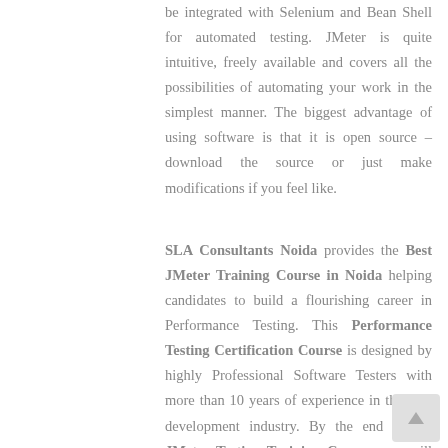be integrated with Selenium and Bean Shell for automated testing. JMeter is quite intuitive, freely available and covers all the possibilities of automating your work in the simplest manner. The biggest advantage of using software is that it is open source – download the source or just make modifications if you feel like.
SLA Consultants Noida provides the Best JMeter Training Course in Noida helping candidates to build a flourishing career in Performance Testing. This Performance Testing Certification Course is designed by highly Professional Software Testers with more than 10 years of experience in the web development industry. By the end of the JMeter Testing Training Course, you will have a deep understanding of the capabilities that JMeter embraces. This